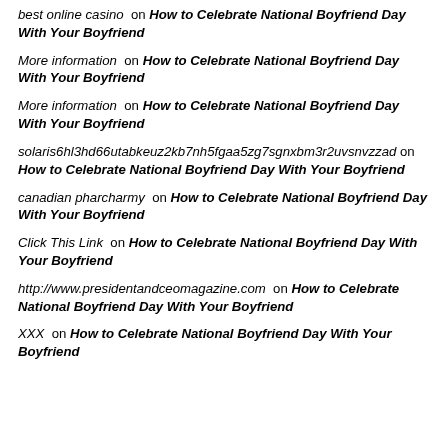best online casino on How to Celebrate National Boyfriend Day With Your Boyfriend
More information on How to Celebrate National Boyfriend Day With Your Boyfriend
More information on How to Celebrate National Boyfriend Day With Your Boyfriend
solaris6hl3hd66utabkeuz2kb7nh5fgaa5zg7sgnxbm3r2uvsnvzzad on How to Celebrate National Boyfriend Day With Your Boyfriend
canadian pharcharmy on How to Celebrate National Boyfriend Day With Your Boyfriend
Click This Link on How to Celebrate National Boyfriend Day With Your Boyfriend
http://www.presidentandceomagazine.com on How to Celebrate National Boyfriend Day With Your Boyfriend
XXX on How to Celebrate National Boyfriend Day With Your Boyfriend